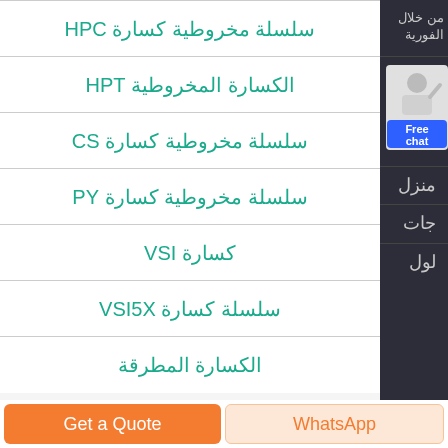سلسلة مخروطية كسارة HPC
الكسارة المخروطية HPT
سلسلة مخروطية كسارة CS
سلسلة مخروطية كسارة PY
كسارة VSI
سلسلة كسارة VSI5X
الكسارة المطرقة
من خلال
الفورية
منزل
جات
لول
Free chat
Get a Quote
WhatsApp